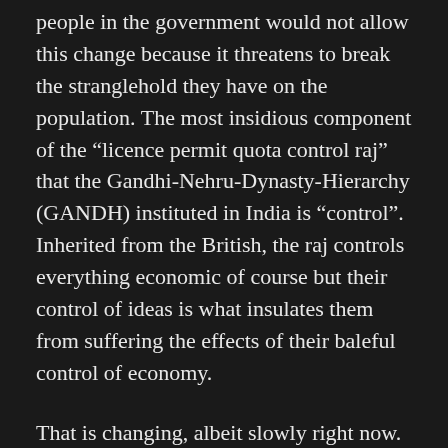people in the government would not allow this change because it threatens to break the stranglehold they have on the population. The most insidious component of the “licence permit quota control raj” that the Gandhi-Nehru-Dynasty-Hierarchy (GANDH) instituted in India is “control”. Inherited from the British, the raj controls everything economic of course but their control of ideas is what insulates them from suffering the effects of their baleful control of economy.
That is changing, albeit slowly right now. The revolution in information and communications technology will usher in the revolution in how people think and that will